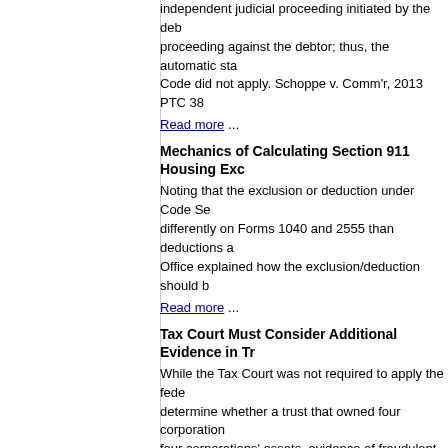independent judicial proceeding initiated by the debtor proceeding against the debtor; thus, the automatic stay Code did not apply. Schoppe v. Comm'r, 2013 PTC 38
Read more ...
Mechanics of Calculating Section 911 Housing Exc
Noting that the exclusion or deduction under Code Sec differently on Forms 1040 and 2555 than deductions a Office explained how the exclusion/deduction should b
Read more ...
Tax Court Must Consider Additional Evidence in Tr
While the Tax Court was not required to apply the fede determine whether a trust that owned four corporation four corporations' assets, evidence of fraudulent trans acquisition vehicles should have been considered. Fra 2013 PTC 39 (1st Cir. 3/29/13).
Read more ...
Book Publisher's Activities Don't Qualify for Dom
The IRS rejected a taxpayer's claim that its design, de selection, and packaging of its books constituted a qu 199 deduction. CCM 201313020.
Read more ...
Taxpayer Can Use Special Government Contract R Activities Deduction